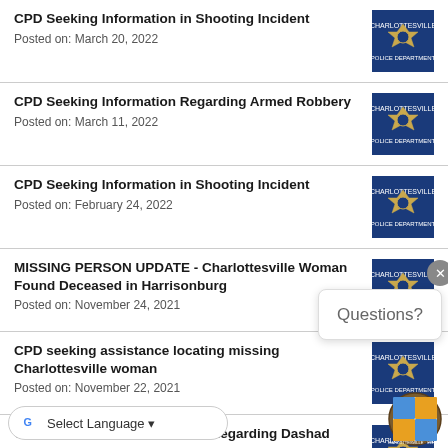CPD Seeking Information in Shooting Incident
Posted on: March 20, 2022
CPD Seeking Information Regarding Armed Robbery
Posted on: March 11, 2022
CPD Seeking Information in Shooting Incident
Posted on: February 24, 2022
MISSING PERSON UPDATE - Charlottesville Woman Found Deceased in Harrisonburg
Posted on: November 24, 2021
CPD seeking assistance locating missing Charlottesville woman
Posted on: November 22, 2021
CPD Continues to Seek Leads Regarding Dashad